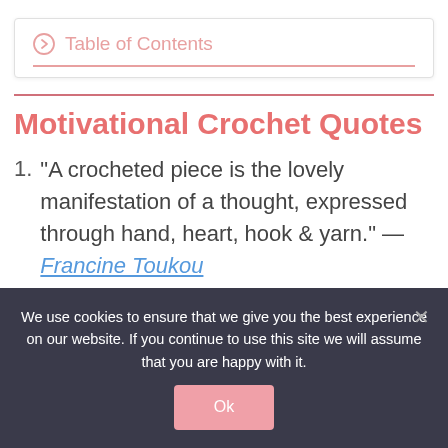Table of Contents
Motivational Crochet Quotes
"A crocheted piece is the lovely manifestation of a thought, expressed through hand, heart, hook & yarn." — Francine Toukou
We use cookies to ensure that we give you the best experience on our website. If you continue to use this site we will assume that you are happy with it.